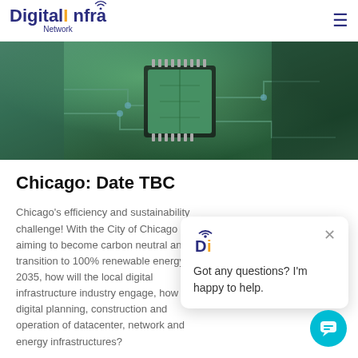[Figure (logo): Digital Infra Network logo with wifi icon above the I]
[Figure (photo): Close-up photo of a green circuit board / microchip with leaf texture overlay]
Chicago: Date TBC
Chicago's efficiency and sustainability challenge! With the City of Chicago aiming to become carbon neutral and transition to 100% renewable energy by 2035, how will the local digital infrastructure industry engage, how will digital planning, construction and operation of datacenter, network and energy infrastructures?
Click to View
[Figure (other): Chat popup with DI logo and message: Got any questions? I'm happy to help.]